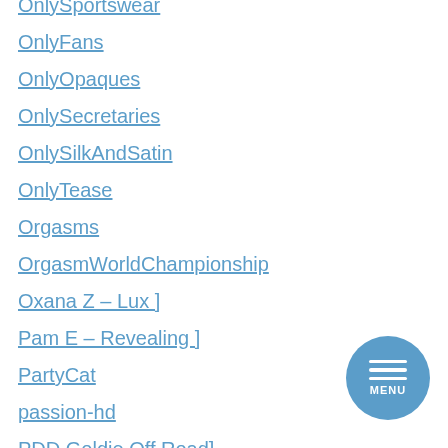OnlySportswear
OnlyFans
OnlyOpaques
OnlySecretaries
OnlySilkAndSatin
OnlyTease
Orgasms
OrgasmWorldChampionship
Oxana Z – Lux ]
Pam E – Revealing ]
PartyCat
passion-hd
PDD Goldie Off Road]